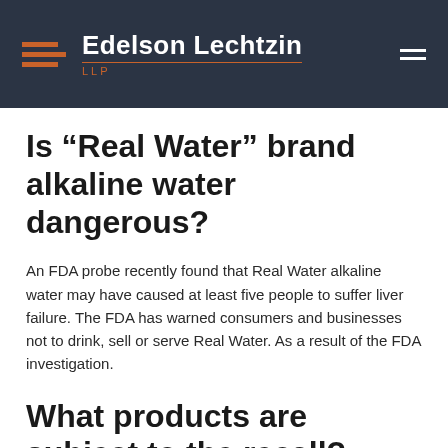Edelson Lechtzin LLP
Is “Real Water” brand alkaline water dangerous?
An FDA probe recently found that Real Water alkaline water may have caused at least five people to suffer liver failure. The FDA has warned consumers and businesses not to drink, sell or serve Real Water. As a result of the FDA investigation.
What products are subject to the recall?